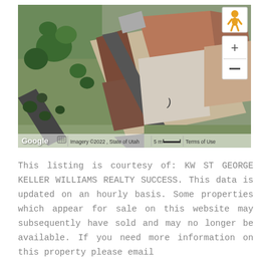[Figure (map): Google Maps aerial/satellite view of a property in Utah, showing rooftops, driveways and vegetation from above. Map controls visible including pegman and zoom +/- buttons. Footer shows: Google logo, keyboard icon, 'Imagery ©2022, State of Utah', '5 m' scale bar, 'Terms of Use'.]
This listing is courtesy of: KW ST GEORGE KELLER WILLIAMS REALTY SUCCESS. This data is updated on an hourly basis. Some properties which appear for sale on this website may subsequently have sold and may no longer be available. If you need more information on this property please email